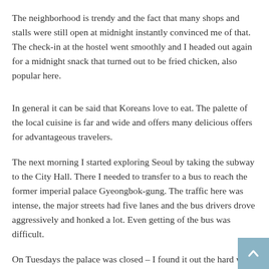The neighborhood is trendy and the fact that many shops and stalls were still open at midnight instantly convinced me of that. The check-in at the hostel went smoothly and I headed out again for a midnight snack that turned out to be fried chicken, also popular here.
In general it can be said that Koreans love to eat. The palette of the local cuisine is far and wide and offers many delicious offers for advantageous travelers.
The next morning I started exploring Seoul by taking the subway to the City Hall. There I needed to transfer to a bus to reach the former imperial palace Gyeongbok-gung. The traffic here was intense, the major streets had five lanes and the bus drivers drove aggressively and honked a lot. Even getting of the bus was difficult.
On Tuesdays the palace was closed – I found it out the hard way, but the next sight was in walking distance, so there was not an issue.